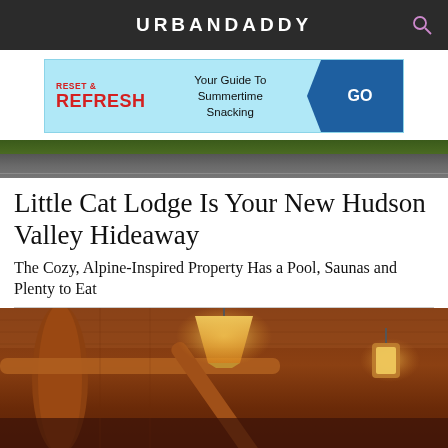URBANDADDY
[Figure (infographic): Advertisement banner: Reset & Refresh — Your Guide To Summertime Snacking — GO button]
[Figure (photo): Road/highway landscape photo strip]
Little Cat Lodge Is Your New Hudson Valley Hideaway
The Cozy, Alpine-Inspired Property Has a Pool, Saunas and Plenty to Eat
[Figure (photo): Interior of Little Cat Lodge showing rustic wooden log beams and warm pendant lighting]